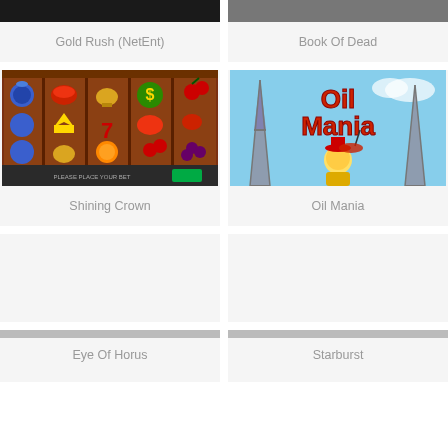[Figure (screenshot): Gold Rush (NetEnt) slot game screenshot, dark background, partially cropped at top]
Gold Rush (NetEnt)
[Figure (screenshot): Book Of Dead slot game screenshot, partially cropped at top, showing win screen]
Book Of Dead
[Figure (screenshot): Shining Crown slot game screenshot showing fruit symbols, crown, 7, dollar sign on brown reels]
Shining Crown
[Figure (screenshot): Oil Mania slot game screenshot showing cartoon man in yellow suit with umbrella, oil derricks, blue sky]
Oil Mania
[Figure (screenshot): Eye Of Horus slot game, bottom partially visible]
Eye Of Horus
[Figure (screenshot): Starburst slot game, bottom partially visible]
Starburst